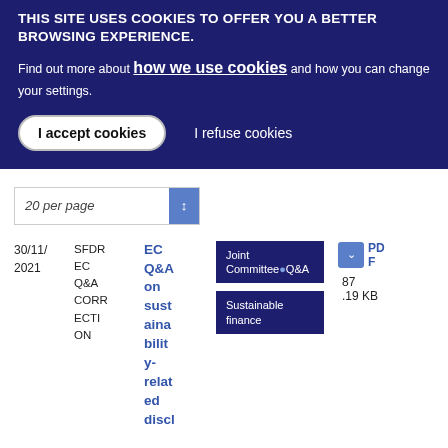THIS SITE USES COOKIES TO OFFER YOU A BETTER BROWSING EXPERIENCE.
Find out more about how we use cookies and how you can change your settings.
I accept cookies
I refuse cookies
20 per page
30/11/2021
SFDR EC Q&A CORRECTION
EC Q&A on sustainability-related discl
Joint Committee Q&A
Sustainable finance
PDF
87.19 KB